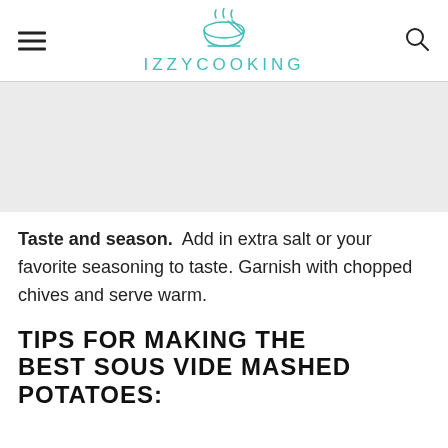IZZYCOOKING
[Figure (other): Gray advertisement/image placeholder area]
Taste and season. Add in extra salt or your favorite seasoning to taste. Garnish with chopped chives and serve warm.
TIPS FOR MAKING THE BEST SOUS VIDE MASHED POTATOES: